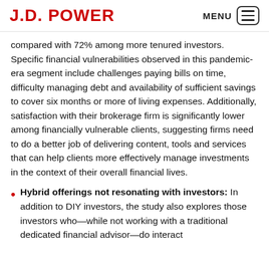J.D. POWER
compared with 72% among more tenured investors. Specific financial vulnerabilities observed in this pandemic-era segment include challenges paying bills on time, difficulty managing debt and availability of sufficient savings to cover six months or more of living expenses. Additionally, satisfaction with their brokerage firm is significantly lower among financially vulnerable clients, suggesting firms need to do a better job of delivering content, tools and services that can help clients more effectively manage investments in the context of their overall financial lives.
Hybrid offerings not resonating with investors: In addition to DIY investors, the study also explores those investors who—while not working with a traditional dedicated financial advisor—do interact